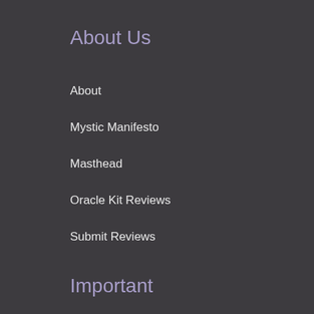About Us
About
Mystic Manifesto
Masthead
Oracle Kit Reviews
Submit Reviews
Important